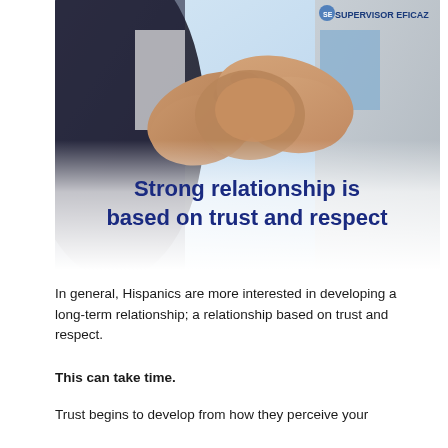[Figure (photo): Two people shaking hands — one in a dark suit, one in a light grey suit with blue shirt. The image has a watermark logo 'SUPERVISOR EFICAZ' in the top right corner. Overlaid at the bottom of the image in bold dark blue text: 'Strong relationship is based on trust and respect']
In general, Hispanics are more interested in developing a long-term relationship; a relationship based on trust and respect.
This can take time.
Trust begins to develop from how they perceive your